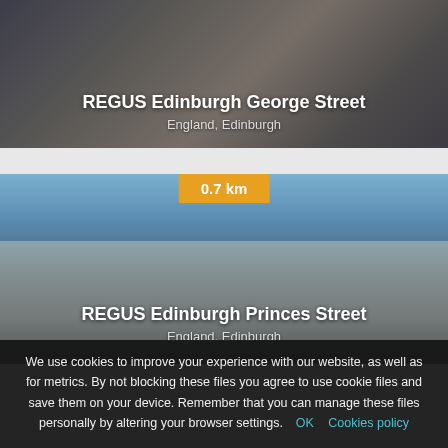[Figure (photo): Photo of REGUS Edinburgh George Street building exterior, dark urban street scene]
REGUS Edinburgh George Street
England, Edinburgh
[Figure (photo): Photo of REGUS Edinburgh Princes Street building exterior with blue sky]
0.7 km
REGUS Edinburgh Princes Street
England, Edinburgh
We use cookies to improve your experience with our website, as well as for metrics. By not blocking these files you agree to use cookie files and save them on your device. Remember that you can manage these files personally by altering your browser settings. OK Cookies policy